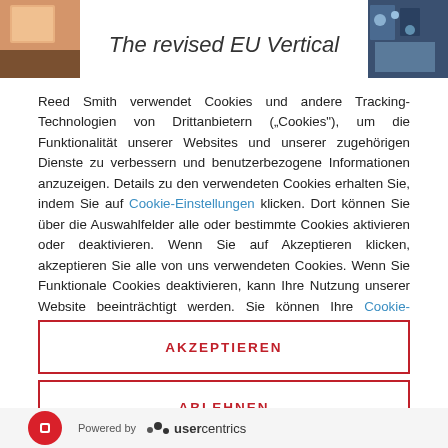[Figure (photo): Top banner image showing partial view of a page titled 'The revised EU Vertical...' with colorful background images]
Reed Smith verwendet Cookies und andere Tracking-Technologien von Drittanbietern („Cookies“), um die Funktionalität unserer Websites und unserer zugehörigen Dienste zu verbessern und benutzerbezogene Informationen anzuzeigen. Details zu den verwendeten Cookies erhalten Sie, indem Sie auf Cookie-Einstellungen klicken. Dort können Sie über die Auswahlfelder alle oder bestimmte Cookies aktivieren oder deaktivieren. Wenn Sie auf Akzeptieren klicken, akzeptieren Sie alle von uns verwendeten Cookies. Wenn Sie Funktionale Cookies deaktivieren, kann Ihre Nutzung unserer Website beeinträchtigt werden. Sie können Ihre Cookie-Einstellungen jederzeit ändern oder die Zustimmung widerrufen, indem Sie auf die Cookie-Einstellungen zugreifen.
AKZEPTIEREN
ABLEHNEN
Powered by usercentrics